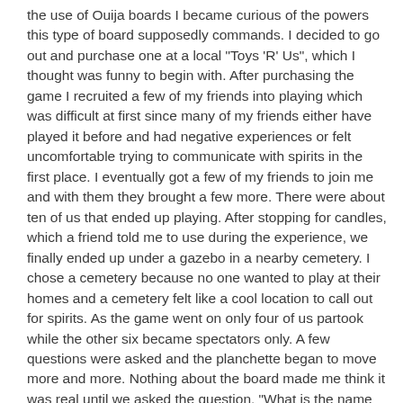the use of Ouija boards I became curious of the powers this type of board supposedly commands. I decided to go out and purchase one at a local "Toys 'R' Us", which I thought was funny to begin with. After purchasing the game I recruited a few of my friends into playing which was difficult at first since many of my friends either have played it before and had negative experiences or felt uncomfortable trying to communicate with spirits in the first place. I eventually got a few of my friends to join me and with them they brought a few more. There were about ten of us that ended up playing. After stopping for candles, which a friend told me to use during the experience, we finally ended up under a gazebo in a nearby cemetery. I chose a cemetery because no one wanted to play at their homes and a cemetery felt like a cool location to call out for spirits. As the game went on only four of us partook while the other six became spectators only. A few questions were asked and the planchette began to move more and more. Nothing about the board made me think it was real until we asked the question, "What is the name of our friend who recently died?". Three of us were on the board, one being a good friend of our deceased friend, the other was a girl that wasn't from the area and did not know